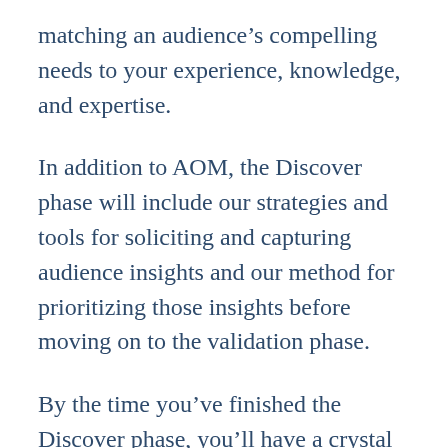matching an audience's compelling needs to your experience, knowledge, and expertise.
In addition to AOM, the Discover phase will include our strategies and tools for soliciting and capturing audience insights and our method for prioritizing those insights before moving on to the validation phase.
By the time you've finished the Discover phase, you'll have a crystal clear view of a minimum viable audience you're able to serve and a deep understanding of 1-3 problems or desires that audience has that